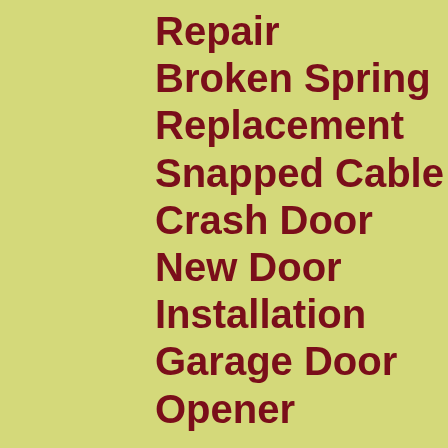Repair
Broken Spring
Replacement
Snapped Cable
Crash Door
New Door
Installation
Garage Door
Opener